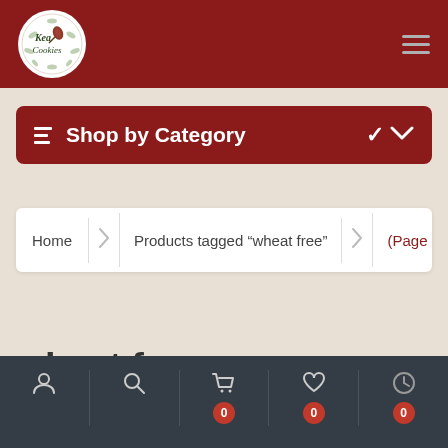[Figure (logo): Kea Cookies circular logo with white background, dark green text reading 'Kea Cookies' with decorative pinecone/floral motif]
☰ Shop by Category
Home › Products tagged "wheat free" › (Page 2)
wheat free